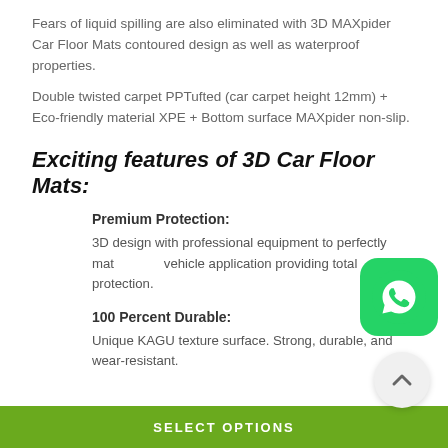Fears of liquid spilling are also eliminated with 3D MAXpider Car Floor Mats contoured design as well as waterproof properties.
Double twisted carpet PPTufted (car carpet height 12mm) + Eco-friendly material XPE + Bottom surface MAXpider non-slip.
Exciting features of 3D Car Floor Mats:
Premium Protection:
3D design with professional equipment to perfectly match each vehicle application providing total protection.
100 Percent Durable:
Unique KAGU texture surface. Strong, durable, and wear-resistant.
[Figure (logo): WhatsApp icon button - green rounded square with white phone/chat icon]
[Figure (other): Scroll-to-top button - grey circle with upward chevron arrow]
SELECT OPTIONS